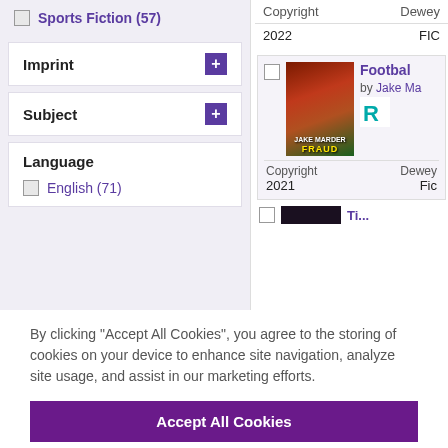Sports Fiction (57)
Imprint
Subject
Language
English (71)
| Copyright | Dewey |
| --- | --- |
| 2022 | FIC |
[Figure (screenshot): Book card for Football [title cut off] by Jake Ma[rder cut off], with a football player image on the cover, Rosen logo, Copyright 2021, Dewey: Fic]
| Copyright | Dewey |
| --- | --- |
| 2021 | Fic |
By clicking “Accept All Cookies”, you agree to the storing of cookies on your device to enhance site navigation, analyze site usage, and assist in our marketing efforts.
Accept All Cookies
Cookies Settings